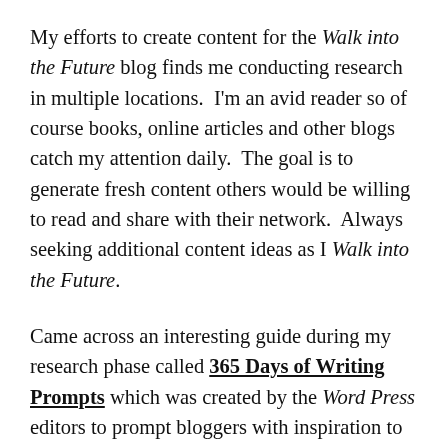My efforts to create content for the Walk into the Future blog finds me conducting research in multiple locations.  I'm an avid reader so of course books, online articles and other blogs catch my attention daily.  The goal is to generate fresh content others would be willing to read and share with their network.  Always seeking additional content ideas as I Walk into the Future.
Came across an interesting guide during my research phase called 365 Days of Writing Prompts which was created by the Word Press editors to prompt bloggers with inspiration to write every day.  Some of the prompts are an attempt to give bloggers a vault of topics which